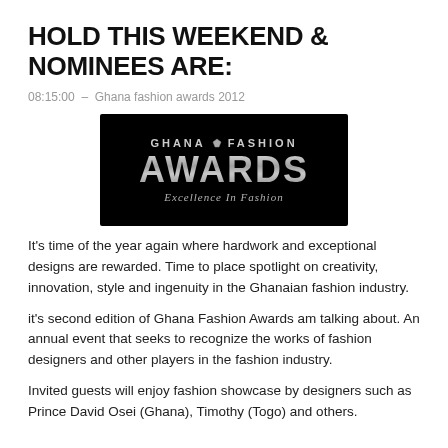HOLD THIS WEEKEND & NOMINEES ARE:
08:15:00  –  Ghana fashion awards 2012
[Figure (logo): Ghana Fashion Awards logo on black background with text 'GHANA FASHION AWARDS Excellence In Fashion']
It's time of the year again where hardwork and exceptional designs are rewarded. Time to place spotlight on creativity, innovation, style and ingenuity in the Ghanaian fashion industry.
it's second edition of Ghana Fashion Awards am talking about. An annual event that seeks to recognize the works of fashion designers and other players in the fashion industry.
Invited guests will enjoy fashion showcase by designers such as Prince David Osei (Ghana), Timothy (Togo) and others.